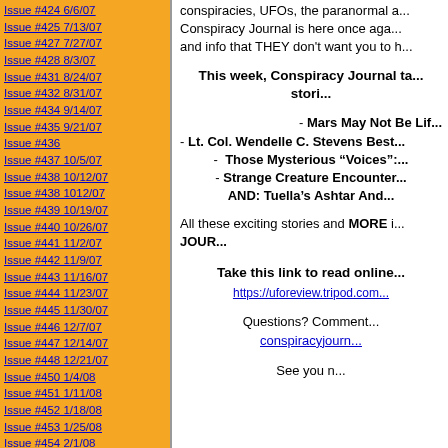Issue #424 6/6/07
Issue #425 7/13/07
Issue #427 7/27/07
Issue #428 8/3/07
Issue #431 8/24/07
Issue #432 8/31/07
Issue #434 9/14/07
Issue #435 9/21/07
Issue #436
Issue #437 10/5/07
Issue #438 10/12/07
Issue #438 1012/07
Issue #439 10/19/07
Issue #440 10/26/07
Issue #441 11/2/07
Issue #442 11/9/07
Issue #443 11/16/07
Issue #444 11/23/07
Issue #445 11/30/07
Issue #446 12/7/07
Issue #447 12/14/07
Issue #448 12/21/07
Issue #450 1/4/08
Issue #451 1/11/08
Issue #452 1/18/08
Issue #453 1/25/08
Issue #454 2/1/08
Issue #455 2/8/08
conspiracies, UFOs, the paranormal a... Conspiracy Journal is here once aga... and info that THEY don't want you to h...
This week, Conspiracy Journal ta... stori...
- Mars May Not Be Lif...
- Lt. Col. Wendelle C. Stevens Best...
-  Those Mysterious “Voices”:...
- Strange Creature Encounter...
AND: Tuella’s Ashtar And...
All these exciting stories and MORE i... JOUR...
Take this link to read online...
https://uforeview.tripod.com...
Questions? Comment... conspiracyjourn...
See you n...